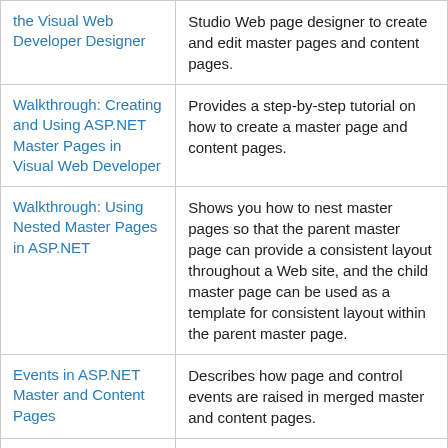| Topic | Description |
| --- | --- |
| the Visual Web Developer Designer | Studio Web page designer to create and edit master pages and content pages. |
| Walkthrough: Creating and Using ASP.NET Master Pages in Visual Web Developer | Provides a step-by-step tutorial on how to create a master page and content pages. |
| Walkthrough: Using Nested Master Pages in ASP.NET | Shows you how to nest master pages so that the parent master page can provide a consistent layout throughout a Web site, and the child master page can be used as a template for consistent layout within the parent master page. |
| Events in ASP.NET Master and Content Pages | Describes how page and control events are raised in merged master and content pages. |
| ASP.NET Web Forms Pages | Provides links to topics on creating ASP.NET Web... |